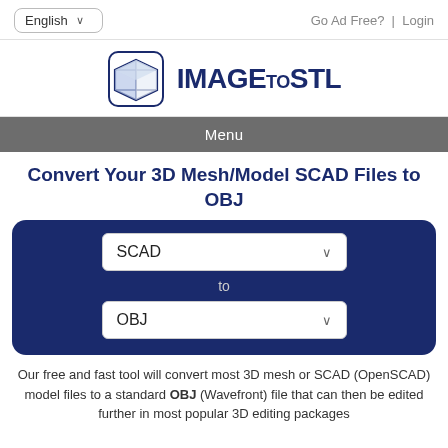English  ∨   Go Ad Free? | Login
[Figure (logo): IMAGEtoSTL logo with a 3D cube icon on the left and the text IMAGEtoSTL in dark blue bold font]
Menu
Convert Your 3D Mesh/Model SCAD Files to OBJ
[Figure (screenshot): Dark navy blue rounded rectangle converter widget with two dropdown selectors: SCAD (top) and OBJ (bottom), separated by the word 'to' in light grey text]
Our free and fast tool will convert most 3D mesh or SCAD (OpenSCAD) model files to a standard OBJ (Wavefront) file that can then be edited further in most popular 3D editing packages